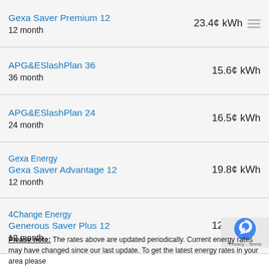Gexa Saver Premium 12 | 12 month | 23.4¢ kWh
APG&ESlashPlan 36 | 36 month | 15.6¢ kWh
APG&ESlashPlan 24 | 24 month | 16.5¢ kWh
Gexa Energy Gexa Saver Advantage 12 | 12 month | 19.8¢ kWh
4Change Energy Generous Saver Plus 12 | 12 month | 12.9¢ kWh
Please note: The rates above are updated periodically. Current energy rates may have changed since our last update. To get the latest energy rates in your area please